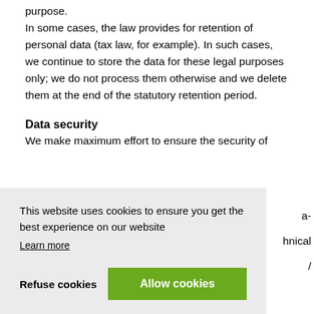purpose.
In some cases, the law provides for retention of personal data (tax law, for example). In such cases, we continue to store the data for these legal purposes only; we do not process them otherwise and we delete them at the end of the statutory retention period.
Data security
We make maximum effort to ensure the security of
[Figure (screenshot): Cookie consent banner with text 'This website uses cookies to ensure you get the best experience on our website', a 'Learn more' link, and two buttons: 'Refuse cookies' and 'Allow cookies' (green button).]
Basically, we use your personal data within our